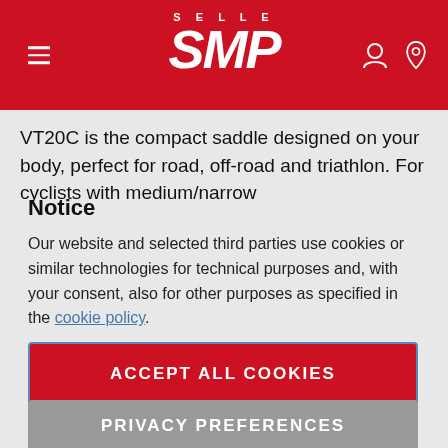SELLE SMP
VT20C is the compact saddle designed on your body, perfect for road, off-road and triathlon. For cyclists with medium/narrow
Notice
Our website and selected third parties use cookies or similar technologies for technical purposes and, with your consent, also for other purposes as specified in the cookie policy.
ACCEPT ALL COOKIES
PRIVACY PREFERENCES